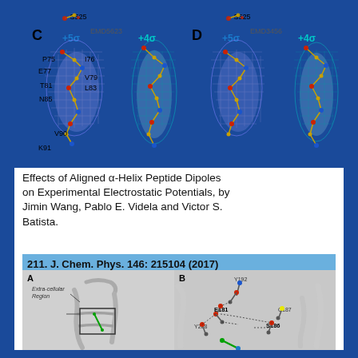[Figure (illustration): Molecular structure panels C and D showing electron density maps at +5sigma and +4sigma contour levels. Panel C labeled EMD5623, Panel D labeled EMD3456. Residues labeled include S525, P75, E77, T81, N85, I76, V79, L83, V90, K91 in panel C. Yellow stick models with blue/white mesh density.]
Effects of Aligned α-Helix Peptide Dipoles on Experimental Electrostatic Potentials, by Jimin Wang, Pablo E. Videla and Victor S. Batista.
211. J. Chem. Phys. 146: 215104 (2017)
[Figure (illustration): Structural biology figure with two panels A and B. Panel A shows the extra-cellular region of a protein ribbon diagram with a boxed region highlighted. Panel B shows a close-up of residues Y192, E181, C187, Y268, S186 with dashed lines indicating hydrogen bonds/interactions.]